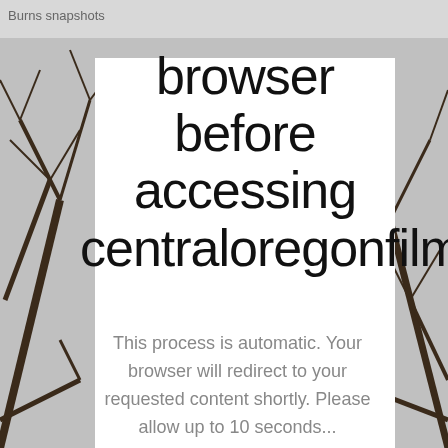Burns snapshots
[Figure (photo): Background photo of bare tree branches silhouetted against a grey sky, partially obscured by the white overlay card]
browser before accessing centraloregonfilmoffice.com
This process is automatic. Your browser will redirect to your requested content shortly. Please allow up to 10 seconds...